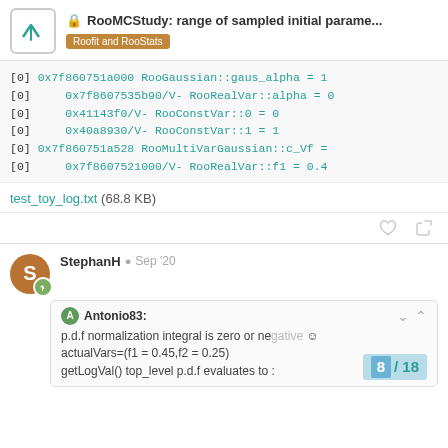RooMCStudy: range of sampled initial parame... — Roofit and RooStats
[0] 0x7f860751a000 RooGaussian::gaus_alpha = 1
[0]    0x7f8607535b90/V- RooRealVar::alpha = 0
[0]    0x41143f0/V- RooConstVar::0 = 0
[0]    0x40a8930/V- RooConstVar::1 = 1
[0] 0x7f860751a528 RooMultiVarGaussian::c_Vf =
[0]    0x7f8607521000/V- RooRealVar::f1 = 0.4
test_toy_log.txt (68.8 KB)
StephanH Sep '20
Antonio83:
p.d.f normalization integral is zero or negative
actualVars=(f1 = 0.45,f2 = 0.25)
getLogVal() top_level p.d.f evaluates to ...